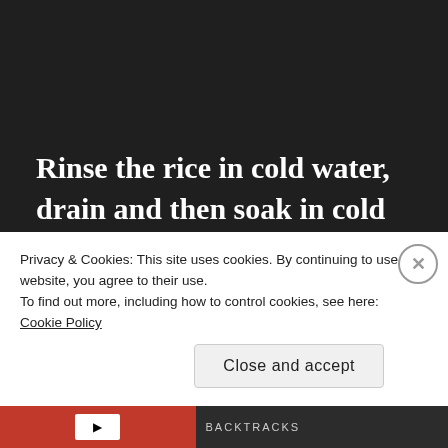Rinse the rice in cold water, drain and then soak in cold water for 30 minutes.
Bring the water to boil in a medium-
Privacy & Cookies: This site uses cookies. By continuing to use this website, you agree to their use.
To find out more, including how to control cookies, see here: Cookie Policy
Close and accept